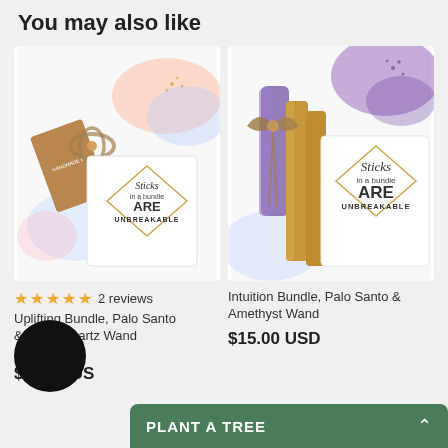You may also like
[Figure (photo): Product photo of a bundle package with kraft paper tag, twine bow, and a card reading 'Sticks in a bundle ARE UNBREAKABLE' with pastel watercolor accents]
[Figure (photo): Product photo of palo santo sticks bundled with twine and an amethyst wand, with card reading 'Sticks in a bundle ARE UNBREAKABLE' and purple watercolor accents]
★★★★★ 2 reviews
Uplifting Bundle, Palo Santo & Clear Quartz Wand
★★★ (2)
$15.00 USD
Intuition Bundle, Palo Santo & Amethyst Wand
$15.00 USD
PLANT A TREE